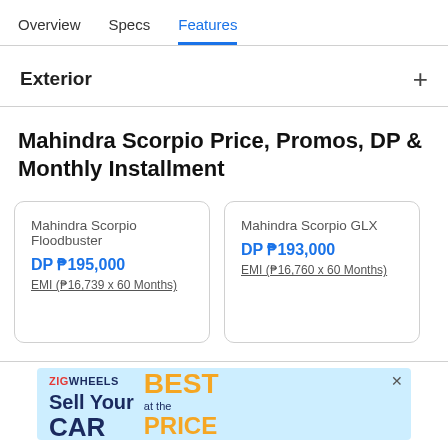Overview  Specs  Features
Exterior
Mahindra Scorpio Price, Promos, DP & Monthly Installment
Mahindra Scorpio Floodbuster
DP ₱195,000
EMI (₱16,739 x 60 Months)
Mahindra Scorpio GLX
DP ₱193,000
EMI (₱16,760 x 60 Months)
[Figure (screenshot): Zigwheels advertisement banner: Sell Your CAR at the BEST PRICE]